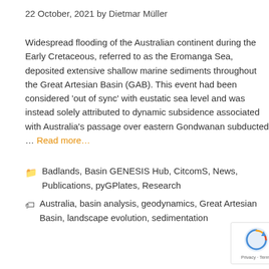22 October, 2021 by Dietmar Müller
Widespread flooding of the Australian continent during the Early Cretaceous, referred to as the Eromanga Sea, deposited extensive shallow marine sediments throughout the Great Artesian Basin (GAB). This event had been considered 'out of sync' with eustatic sea level and was instead solely attributed to dynamic subsidence associated with Australia's passage over eastern Gondwanan subducted … Read more…
Categories: Badlands, Basin GENESIS Hub, CitcomS, News, Publications, pyGPlates, Research
Tags: Australia, basin analysis, geodynamics, Great Artesian Basin, landscape evolution, sedimentation